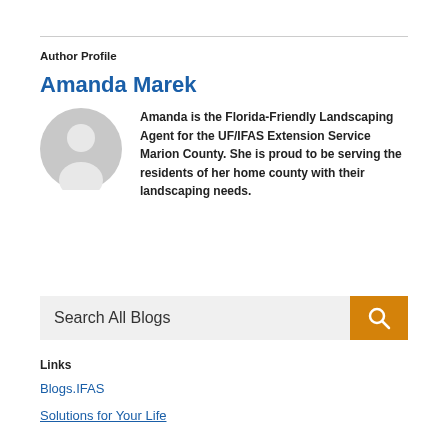Author Profile
Amanda Marek
[Figure (illustration): Default user avatar silhouette in gray circle]
Amanda is the Florida-Friendly Landscaping Agent for the UF/IFAS Extension Service Marion County. She is proud to be serving the residents of her home county with their landscaping needs.
Search All Blogs
Links
Blogs.IFAS
Solutions for Your Life